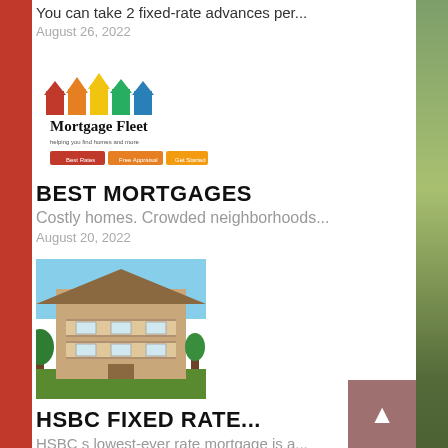You can take 2 fixed-rate advances per...
August 26, 2022
[Figure (logo): Mortgage Fleet logo with colorful house icons and a navigation bar]
BEST MORTGAGES
Costly homes. Crowded neighborhoods...
August 20, 2022
[Figure (photo): Photo of a multi-story residential house with balconies and trees]
HSBC FIXED RATE...
HSBC s lowest-ever rate mortgage is a...